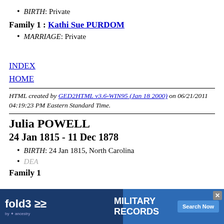BIRTH: Private
Family 1 : Kathi Sue PURDOM
MARRIAGE: Private
INDEX
HOME
HTML created by GED2HTML v3.6-WIN95 (Jan 18 2000) on 06/21/2011 04:19:23 PM Eastern Standard Time.
Julia POWELL
24 Jan 1815 - 11 Dec 1878
BIRTH: 24 Jan 1815, North Carolina
DEA...
Family 1